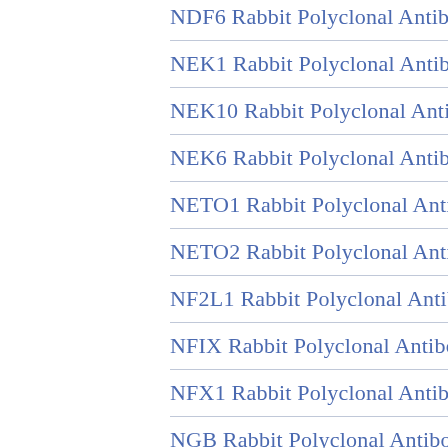NDF6 Rabbit Polyclonal Antibody
NEK1 Rabbit Polyclonal Antibody
NEK10 Rabbit Polyclonal Antibody
NEK6 Rabbit Polyclonal Antibody
NETO1 Rabbit Polyclonal Antibody
NETO2 Rabbit Polyclonal Antibody
NF2L1 Rabbit Polyclonal Antibody
NFIX Rabbit Polyclonal Antibody
NFX1 Rabbit Polyclonal Antibody
NGB Rabbit Polyclonal Antibody
NGDN Rabbit Polyclonal Antibody
NGN1 Rabbit Polyclonal Antibody
NGRN Rabbit Polyclonal Antibody